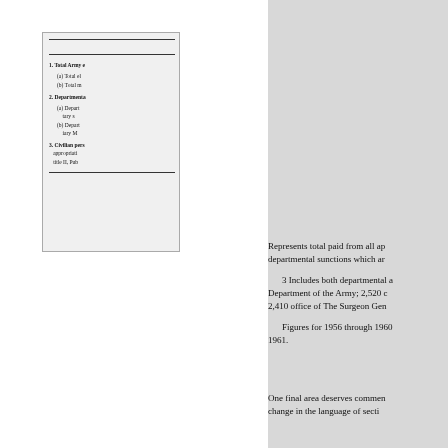[Figure (other): Partial view of a document card/table showing numbered list items: 1. Total Army (a) Total el... (b) Total m...; 2. Departmental (a) Depart... tary... (b) Depart... ary M...; 3. Civilian pers... appropriati... title II, Pub...]
Represents total paid from all ap... departmental sunctions which ar...
3 Includes both departmental a... Department of the Army; 2,520 c... 2,410 office of The Surgeon Gen...
Figures for 1956 through 1960... 1961.
One final area deserves commen... change in the language of secti...